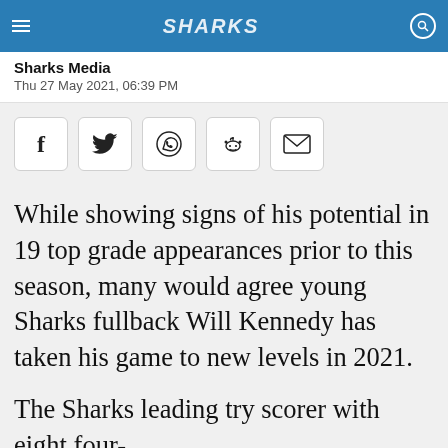Sharks Media
Thu 27 May 2021, 06:39 PM
[Figure (other): Row of social share buttons: Facebook, Twitter, WhatsApp, Reddit, Email]
While showing signs of his potential in 19 top grade appearances prior to this season, many would agree young Sharks fullback Will Kennedy has taken his game to new levels in 2021.
The Sharks leading try scorer with eight four-